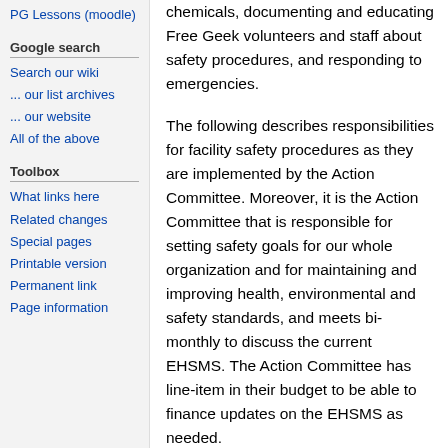PG Lessons (moodle)
Google search
Search our wiki
... our list archives
... our website
All of the above
Toolbox
What links here
Related changes
Special pages
Printable version
Permanent link
Page information
chemicals, documenting and educating Free Geek volunteers and staff about safety procedures, and responding to emergencies.
The following describes responsibilities for facility safety procedures as they are implemented by the Action Committee. Moreover, it is the Action Committee that is responsible for setting safety goals for our whole organization and for maintaining and improving health, environmental and safety standards, and meets bi-monthly to discuss the current EHSMS. The Action Committee has line-item in their budget to be able to finance updates on the EHSMS as needed.
The Action Committee monitors safety conditions in the building regularly. They